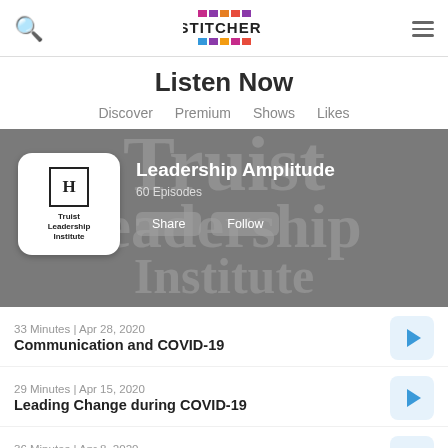[Figure (logo): Stitcher app header with search icon, Stitcher colorful logo, and hamburger menu]
Listen Now
Discover
Premium
Shows
Likes
[Figure (screenshot): Podcast banner for Leadership Amplitude by Truist Leadership Institute, 60 Episodes, with Share and Follow buttons]
33 Minutes | Apr 28, 2020
Communication and COVID-19
29 Minutes | Apr 15, 2020
Leading Change during COVID-19
36 Minutes | Apr 8, 2020
Purpose during Stress
31 Minutes | Mar 31, 2020